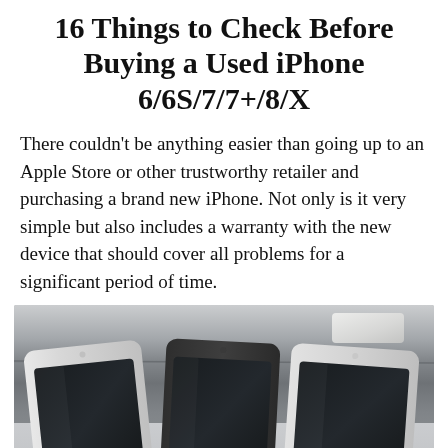16 Things to Check Before Buying a Used iPhone 6/6S/7/7+/8/X
There couldn't be anything easier than going up to an Apple Store or other trustworthy retailer and purchasing a brand new iPhone. Not only is it very simple but also includes a warranty with the new device that should cover all problems for a significant period of time.
[Figure (photo): Photo of three smartphones (iPhones) lying on a surface, viewed from above at an angle, with their screens dark.]